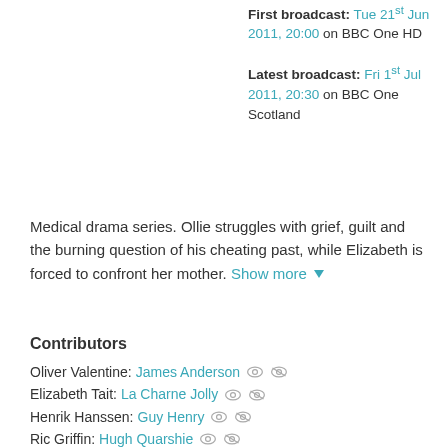First broadcast: Tue 21st Jun 2011, 20:00 on BBC One HD Latest broadcast: Fri 1st Jul 2011, 20:30 on BBC One Scotland
Medical drama series. Ollie struggles with grief, guilt and the burning question of his cheating past, while Elizabeth is forced to confront her mother. Show more
Contributors
Oliver Valentine: James Anderson
Elizabeth Tait: La Charne Jolly
Henrik Hanssen: Guy Henry
Ric Griffin: Hugh Quarshie
Antoine Malick: Jimmy Akingbola
Eddi McKee: Sarah-Jane Potts
Sacha Levy: Bob Barrett